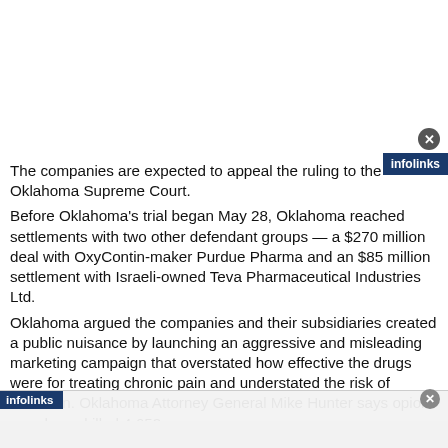[Figure (screenshot): White advertisement/banner area at top of page with infolinks branding and close button]
The companies are expected to appeal the ruling to the Oklahoma Supreme Court. Before Oklahoma's trial began May 28, Oklahoma reached settlements with two other defendant groups — a $270 million deal with OxyContin-maker Purdue Pharma and an $85 million settlement with Israeli-owned Teva Pharmaceutical Industries Ltd. Oklahoma argued the companies and their subsidiaries created a public nuisance by launching an aggressive and misleading marketing campaign that overstated how effective the drugs were for treating chronic pain and understated the risk of addiction. Oklahoma Attorney General Mike Hunter says opioid overdoses killed 4,653 [people in the state from 2007 to 2017]